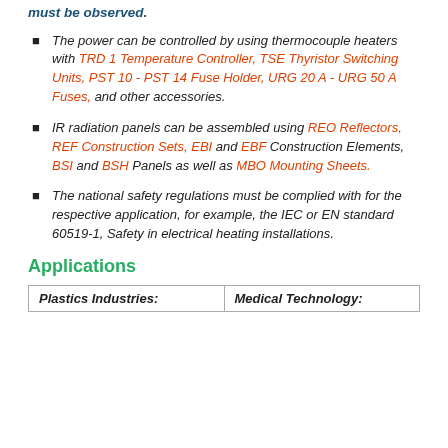must be observed.
The power can be controlled by using thermocouple heaters with TRD 1 Temperature Controller, TSE Thyristor Switching Units, PST 10 - PST 14 Fuse Holder, URG 20 A - URG 50 A Fuses, and other accessories.
IR radiation panels can be assembled using REO Reflectors, REF Construction Sets, EBI and EBF Construction Elements, BSI and BSH Panels as well as MBO Mounting Sheets.
The national safety regulations must be complied with for the respective application, for example, the IEC or EN standard 60519-1, Safety in electrical heating installations.
Applications
| Plastics Industries: | Medical Technology: |
| --- | --- |